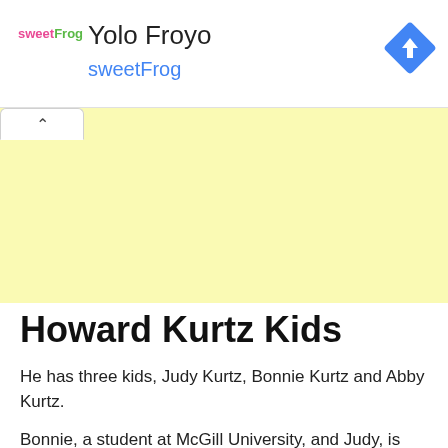[Figure (logo): sweetFrog logo with colorful text and ad for Yolo Froyo sweetFrog with blue direction/navigation icon in top right]
[Figure (other): Yellow advertisement panel with a white chevron-up tab at top left]
Howard Kurtz Kids
He has three kids, Judy Kurtz, Bonnie Kurtz and Abby Kurtz.
Bonnie, a student at McGill University, and Judy, is